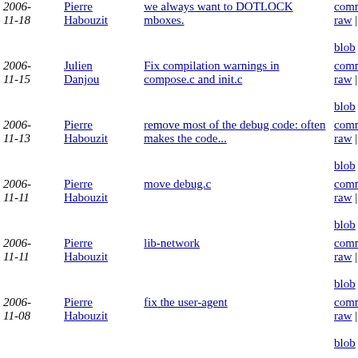| Date | Author | Message | Links |
| --- | --- | --- | --- |
| 2006-11-18 | Pierre Habouzit | we always want to DOTLOCK mboxes. | commitdiff | raw | diff to current
blob | |
| 2006-11-15 | Julien Danjou | Fix compilation warnings in compose.c and init.c | commitdiff | raw | diff to current
blob | |
| 2006-11-13 | Pierre Habouzit | remove most of the debug code: often makes the code... | commitdiff | raw | diff to current
blob | |
| 2006-11-11 | Pierre Habouzit | move debug.c | commitdiff | raw | diff to current
blob | |
| 2006-11-11 | Pierre Habouzit | lib-network | commitdiff | raw | diff to current
blob | |
| 2006-11-08 | Pierre Habouzit | fix the user-agent | commitdiff | raw | diff to current
blob | |